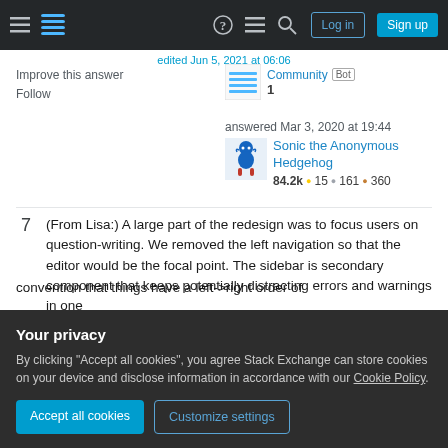Stack Exchange navigation bar with Log in and Sign up buttons
Improve this answer
Follow
Community Bot 1
answered Mar 3, 2020 at 19:44
Sonic the Anonymous Hedgehog
84.2k • 15 • 161 • 360
7  (From Lisa:) A large part of the redesign was to focus users on question-writing. We removed the left navigation so that the editor would be the focal point. The sidebar is secondary component that keeps potentially distracting errors and warnings in one
Your privacy
By clicking "Accept all cookies", you agree Stack Exchange can store cookies on your device and disclose information in accordance with our Cookie Policy.
Accept all cookies   Customize settings
convention that things have a left->right order of